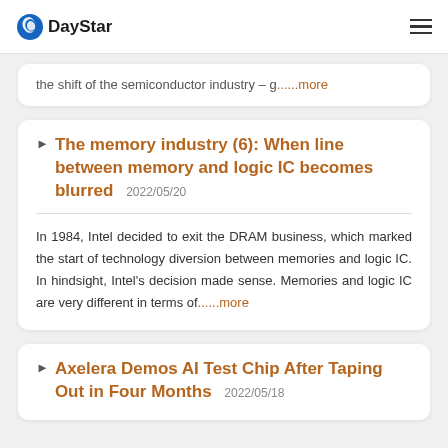DayStar
the shift of the semiconductor industry – g......more
The memory industry (6): When line between memory and logic IC becomes blurred 2022/05/20
In 1984, Intel decided to exit the DRAM business, which marked the start of technology diversion between memories and logic IC. In hindsight, Intel's decision made sense. Memories and logic IC are very different in terms of......more
Axelera Demos AI Test Chip After Taping Out in Four Months 2022/05/18